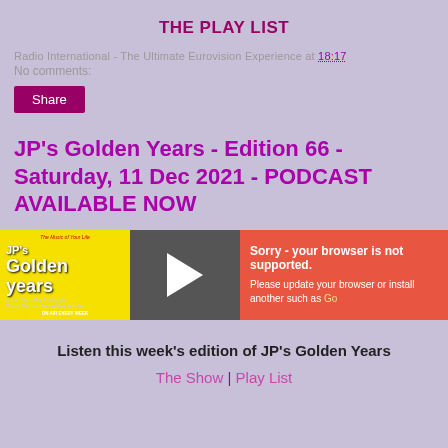THE PLAY LIST
Radio International - The Ultimate Eurovision Experience at 18:17
No comments:
Share
JP's Golden Years - Edition 66 - Saturday, 11 Dec 2021 - PODCAST AVAILABLE NOW
[Figure (screenshot): Podcast player widget showing JP's Golden Years cover art (yellow background), a play button, and an error message: Sorry - your browser is not supported. Please update your browser or install another such as Go...]
Listen this week's edition of JP's Golden Years
The Show | Play List